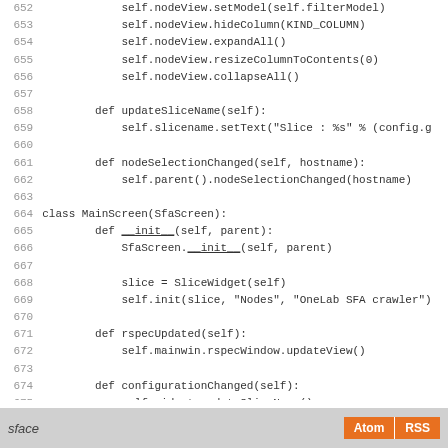[Figure (screenshot): Source code listing lines 652-680 showing Python class methods for MainScreen and SliceWidget]
sface  Atom  RSS